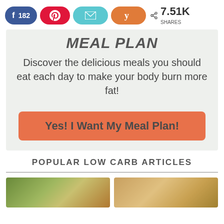[Figure (screenshot): Social share bar with Facebook (182), Pinterest, Email, Yummly buttons and 7.51K shares count]
Meal Plan
Discover the delicious meals you should eat each day to make your body burn more fat!
Yes! I Want My Meal Plan!
POPULAR LOW CARB ARTICLES
[Figure (photo): Two food thumbnail images side by side at bottom of page]